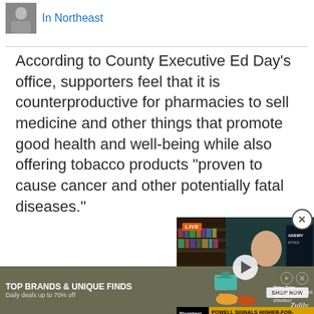[Figure (photo): Small thumbnail photo of a person in suit]
In Northeast
According to County Executive Ed Day’s office, supporters feel that it is counterproductive for pharmacies to sell medicine and other things that promote good health and well-being while also offering tobacco products “proven to cause cancer and other potentially fatal diseases.”
[Figure (screenshot): Bloomberg TV video panel showing a live interview. LIVE badge top left. A bald man in suit with red tie is visible. Lower third reads: Peter Tolar, Academy Securities Head of Macro Strategy. Bottom ticker bar reads: POWELL SIGNALS HIGHER-FOR-LONGER RATES]
[Figure (photo): Advertisement banner for Zulily: TOP BRANDS & UNIQUE FINDS. Daily deals to 70% off. SHOP NOW button. Product images of teal purse and shoes.]